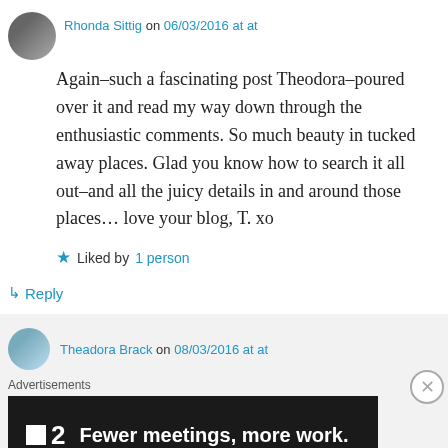[Figure (photo): Small circular avatar photo of Rhonda Sittig]
Rhonda Sittig on 06/03/2016 at at
Again–such a fascinating post Theodora–poured over it and read my way down through the enthusiastic comments. So much beauty in tucked away places. Glad you know how to search it all out–and all the juicy details in and around those places… love your blog, T. xo
★ Liked by 1 person
↳ Reply
[Figure (photo): Small circular avatar photo of Theadora Brack]
Theadora Brack on 08/03/2016 at at
Advertisements
[Figure (screenshot): Dark advertisement banner: square logo and '2' with text 'Fewer meetings, more work.']